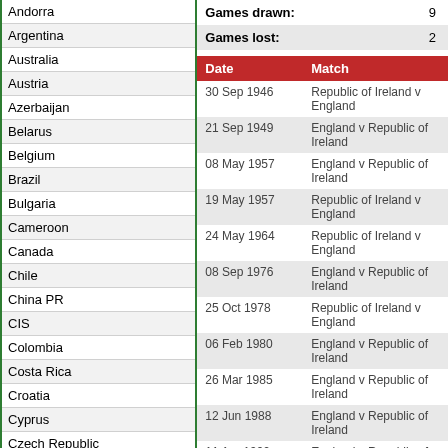| Country |
| --- |
| Andorra |
| Argentina |
| Australia |
| Austria |
| Azerbaijan |
| Belarus |
| Belgium |
| Brazil |
| Bulgaria |
| Cameroon |
| Canada |
| Chile |
| China PR |
| CIS |
| Colombia |
| Costa Rica |
| Croatia |
| Cyprus |
| Czech Republic |
| Czechoslovakia |
| Denmark |
| Ecuador |
| Egypt |
| Estonia |
|  |  |
| --- | --- |
| Games drawn: | 9 |
| Games lost: | 2 |
| Date | Match |
| --- | --- |
| 30 Sep 1946 | Republic of Ireland v England |
| 21 Sep 1949 | England v Republic of Ireland |
| 08 May 1957 | England v Republic of Ireland |
| 19 May 1957 | Republic of Ireland v England |
| 24 May 1964 | Republic of Ireland v England |
| 08 Sep 1976 | England v Republic of Ireland |
| 25 Oct 1978 | Republic of Ireland v England |
| 06 Feb 1980 | England v Republic of Ireland |
| 26 Mar 1985 | England v Republic of Ireland |
| 12 Jun 1988 | England v Republic of Ireland |
| 11 Apr 1990 | England v Republic of Ireland |